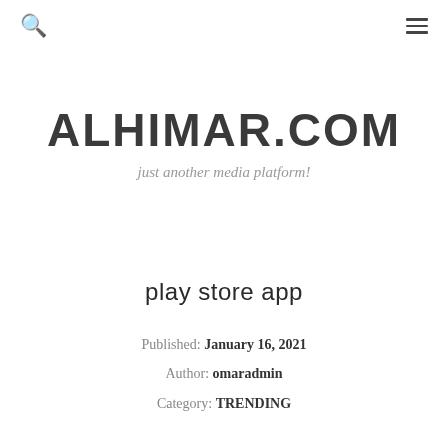🔍  ≡
ALHIMAR.COM
just another media platform!
play store app
Published: January 16, 2021
Author: omaradmin
Category: TRENDING